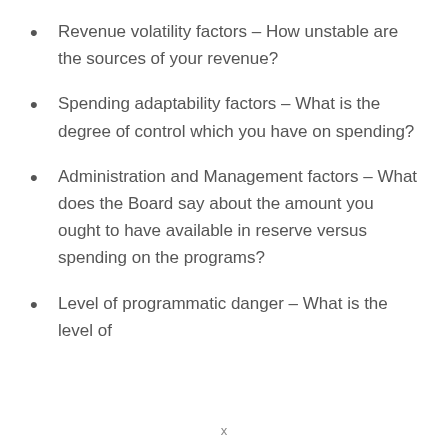Revenue volatility factors – How unstable are the sources of your revenue?
Spending adaptability factors – What is the degree of control which you have on spending?
Administration and Management factors – What does the Board say about the amount you ought to have available in reserve versus spending on the programs?
Level of programmatic danger – What is the level of
x